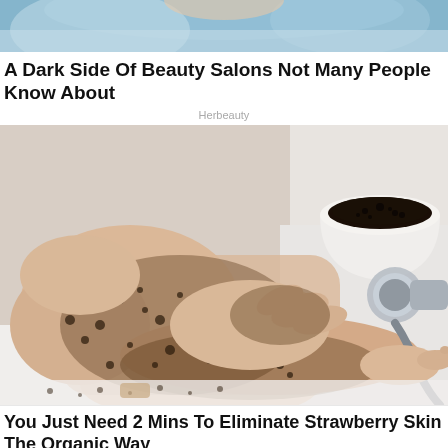[Figure (photo): Top portion of a person's head/hair visible at the top of page, light blue/teal background]
A Dark Side Of Beauty Salons Not Many People Know About
Herbeauty
[Figure (photo): Person applying dark coffee scrub to their legs in a bathtub, holding a white bowl filled with dark coffee grounds. Shower hose visible on the right side.]
You Just Need 2 Mins To Eliminate Strawberry Skin The Organic Way